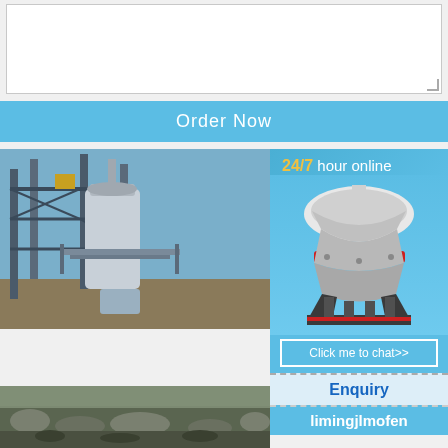[textarea input area]
Order Now
[Figure (photo): Industrial stone crusher plant with large metal structure and silos]
khairagarh ansh crusher stone cg rajnandgaon khairagarh ansh crusher stone cg rajnandg more query details, any other requirements Name * Mail * Tel * Your product needs.
Read More
[Figure (photo): Quarry or stone crushing site aerial view]
[Figure (infographic): 24/7 hour online sidebar with cone crusher image and chat/enquiry options]
24/7 hour online
Click me to chat>>
Enquiry
limingjlmofen